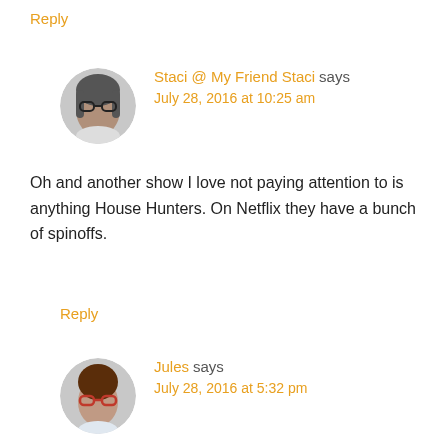Reply
Staci @ My Friend Staci says
July 28, 2016 at 10:25 am
Oh and another show I love not paying attention to is anything House Hunters. On Netflix they have a bunch of spinoffs.
Reply
Jules says
July 28, 2016 at 5:32 pm